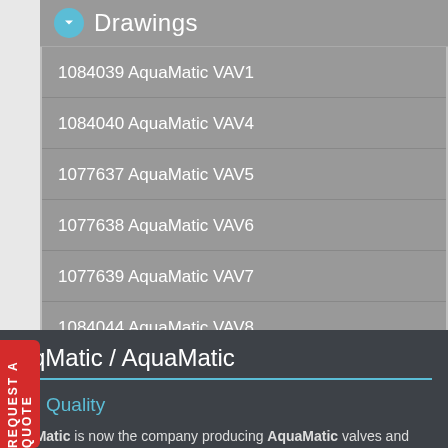Drawings
1084039 AquaMatic VAV1
1084040 AquaMatic VAV4
1077637 AquaMatic VAV5
1077638 AquaMatic VAV6
1077639 AquaMatic VAV7
1084044 AquaMatic VAV8
AqMatic / AquaMatic
Quality
AqMatic is now the company producing AquaMatic valves and will, over time be re-branding them as AqMatic valves.